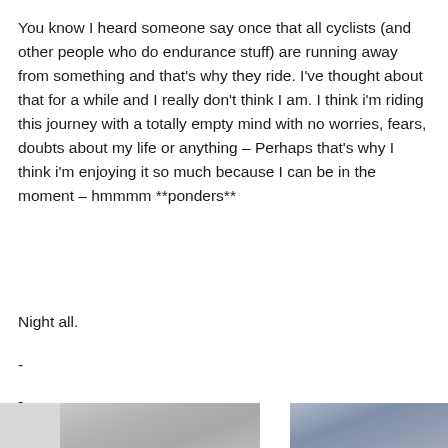You know I heard someone say once that all cyclists (and other people who do endurance stuff) are running away from something and that's why they ride. I've thought about that for a while and I really don't think I am. I think i'm riding this journey with a totally empty mind with no worries, fears, doubts about my life or anything – Perhaps that's why I think i'm enjoying it so much because I can be in the moment – hmmmm **ponders**
Night all.
-
-
[Figure (photo): Two partial photos visible at the bottom of the page — left shows a grey/snowy landscape, right shows a blue-grey mountainous or outdoor scene.]